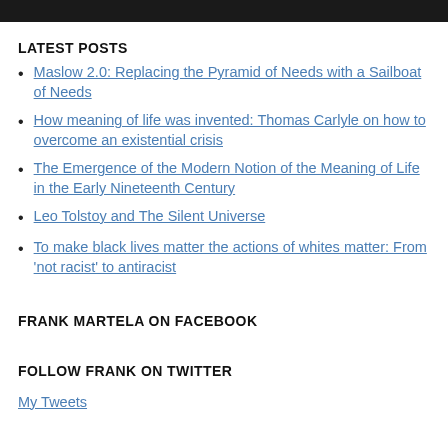LATEST POSTS
Maslow 2.0: Replacing the Pyramid of Needs with a Sailboat of Needs
How meaning of life was invented: Thomas Carlyle on how to overcome an existential crisis
The Emergence of the Modern Notion of the Meaning of Life in the Early Nineteenth Century
Leo Tolstoy and The Silent Universe
To make black lives matter the actions of whites matter: From 'not racist' to antiracist
FRANK MARTELA ON FACEBOOK
FOLLOW FRANK ON TWITTER
My Tweets